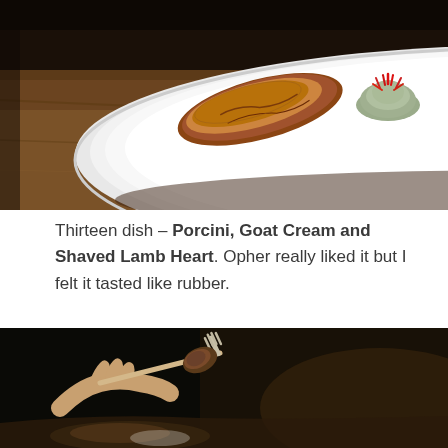[Figure (photo): A white plate on a wooden table with a piece of cooked meat (porcini/lamb heart) and a small mound of goat cream garnished with red herbs/flowers.]
Thirteen dish – Porcini, Goat Cream and Shaved Lamb Heart. Opher really liked it but I felt it tasted like rubber.
[Figure (photo): Close-up of a hand holding a wooden fork with a piece of food (lamb heart or similar) on it, dark blurred background.]